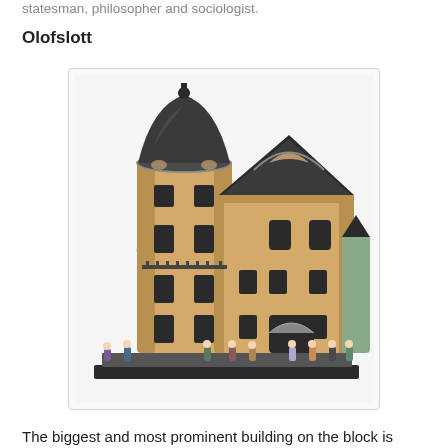statesman, philosopher and sociologist.
Olofslott
[Figure (photo): A LEGO model of the Olofslott building, a grand ornate multi-story yellow building with a rounded tower topped by a dark dome on the left, and a gabled roof section with decorative elements on the right. Several LEGO minifigures stand at the base.]
The biggest and most prominent building on the block is